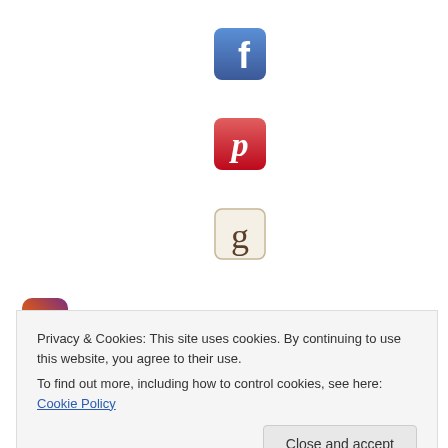[Figure (logo): Facebook app icon - blue square with white 'f' letter]
[Figure (logo): Pinterest app icon - red square with white 'p' letter]
[Figure (logo): Goodreads app icon - beige/cream square with brown 'g' letter]
[Figure (logo): Instagram app icon - camera icon with vintage style]
[Figure (other): Red banner/header with decorative quotation marks]
Privacy & Cookies: This site uses cookies. By continuing to use this website, you agree to their use.
To find out more, including how to control cookies, see here: Cookie Policy
Close and accept